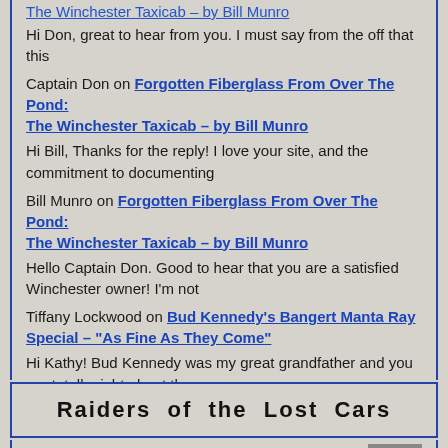The Winchester Taxicab – by Bill Munro (partial link at top)
Hi Don, great to hear from you. I must say from the off that this
Captain Don on Forgotten Fiberglass From Over The Pond: The Winchester Taxicab – by Bill Munro
Hi Bill, Thanks for the reply! I love your site, and the commitment to documenting
Bill Munro on Forgotten Fiberglass From Over The Pond: The Winchester Taxicab – by Bill Munro
Hello Captain Don. Good to hear that you are a satisfied Winchester owner! I'm not
Tiffany Lockwood on Bud Kennedy's Bangert Manta Ray Special – "As Fine As They Come"
Hi Kathy! Bud Kennedy was my great grandfather and you are totally right about the
Raiders of the Lost Cars